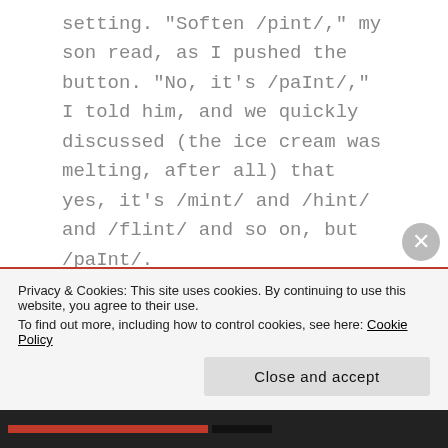setting. "Soften /pint/," my son read, as I pushed the button. "No, it's /paInt/," I told him, and we quickly discussed (the ice cream was melting, after all) that yes, it's /mint/ and /hint/ and /flint/ and so on, but /paInt/.
Today I remembered (while looking up something completely different) to do a quick search in the OED for the string /*aInt/ in pronunciations, and hey! There is a rhyme for pint! It's rynt, a word marked "north." in the OED. One of the citations, from 1820, is "Rynt thee, is an expression used by milk-maids to a cow when she has been milked, to bid her get out of
Privacy & Cookies: This site uses cookies. By continuing to use this website, you agree to their use.
To find out more, including how to control cookies, see here: Cookie Policy
Close and accept